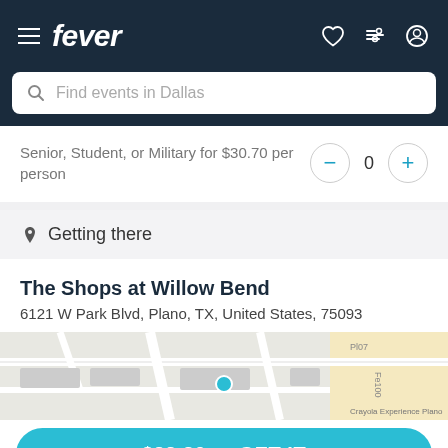fever
Find events in Dallas
Senior, Student, or Military for $30.70 per person
Getting there
The Shops at Willow Bend
6121 W Park Blvd, Plano, TX, United States, 75093
[Figure (map): Street map showing location of The Shops at Willow Bend]
$32.30 — GET IT